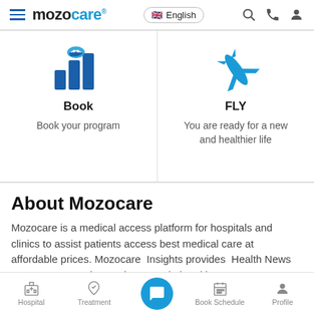mozocare® English [hamburger menu, search, phone, profile icons]
[Figure (illustration): Book icon: bar chart with handshake on top, blue colored]
Book
Book your program
[Figure (illustration): Fly icon: airplane silhouette, teal/blue colored]
FLY
You are ready for a new and healthier life
About Mozocare
Mozocare is a medical access platform for hospitals and clinics to assist patients access best medical care at affordable prices. Mozocare Insights provides Health News, Latest treatment innovation, Hospital ranking
Hospital | Treatment | [chat button] | Book Schedule | Profile